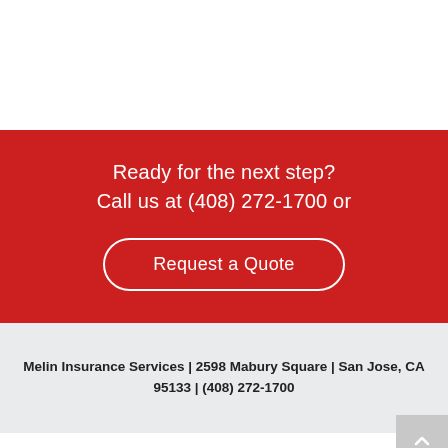Ready for the next step?
Call us at (408) 272-1700 or
Request a Quote
Melin Insurance Services | 2598 Mabury Square | San Jose, CA 95133 | (408) 272-1700
© 2009-2022 Websites by Agency Relevance, All Rights Reserved.